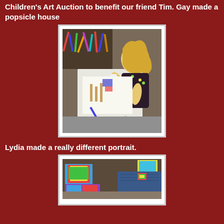Children's Art Auction to benefit our friend Tim. Gay made a popsicle house
[Figure (photo): A young blonde girl working on an art project at a table covered with markers and craft supplies, using a glue bottle, viewed from above]
Lydia made a really different portrait.
[Figure (photo): Partial view of colorful artwork and a person in jeans sitting on the floor]